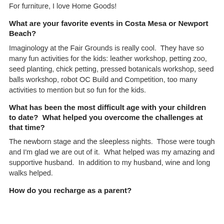For furniture, I love Home Goods!
What are your favorite events in Costa Mesa or Newport Beach?
Imaginology at the Fair Grounds is really cool.  They have so many fun activities for the kids: leather workshop, petting zoo, seed planting, chick petting, pressed botanicals workshop, seed balls workshop, robot OC Build and Competition, too many activities to mention but so fun for the kids.
What has been the most difficult age with your children to date?  What helped you overcome the challenges at that time?
The newborn stage and the sleepless nights.  Those were tough and I'm glad we are out of it.  What helped was my amazing and supportive husband.  In addition to my husband, wine and long walks helped.
How do you recharge as a parent?